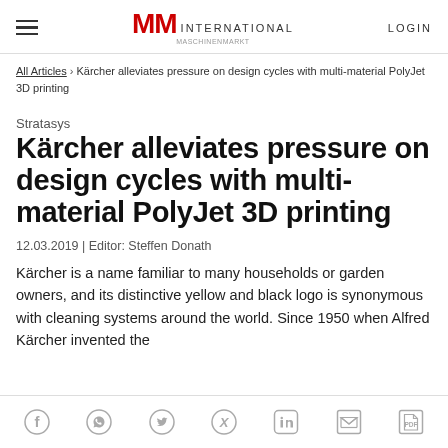MM INTERNATIONAL | LOGIN
All Articles > Kärcher alleviates pressure on design cycles with multi-material PolyJet 3D printing
Stratasys
Kärcher alleviates pressure on design cycles with multi-material PolyJet 3D printing
12.03.2019 | Editor: Steffen Donath
Kärcher is a name familiar to many households or garden owners, and its distinctive yellow and black logo is synonymous with cleaning systems around the world. Since 1950 when Alfred Kärcher invented the
Social share icons: Facebook, WhatsApp, Twitter, Xing, LinkedIn, Email, PDF